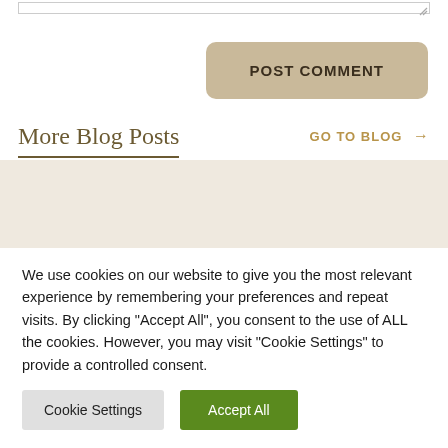[Figure (screenshot): Textarea input stub with resize handle at bottom right]
POST COMMENT
More Blog Posts
GO TO BLOG →
[Figure (other): Blog posts card area with light beige background]
We use cookies on our website to give you the most relevant experience by remembering your preferences and repeat visits. By clicking "Accept All", you consent to the use of ALL the cookies. However, you may visit "Cookie Settings" to provide a controlled consent.
Cookie Settings
Accept All